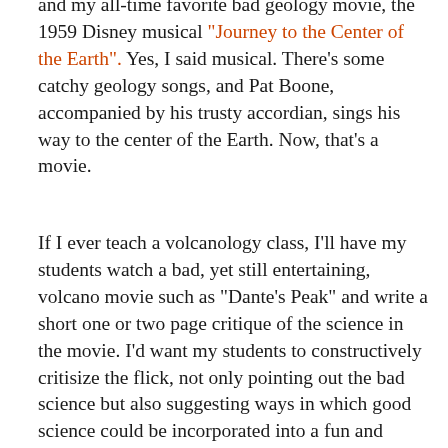and my all-time favorite bad geology movie, the 1959 Disney musical "Journey to the Center of the Earth". Yes, I said musical. There's some catchy geology songs, and Pat Boone, accompanied by his trusty accordian, sings his way to the center of the Earth. Now, that's a movie.
If I ever teach a volcanology class, I'll have my students watch a bad, yet still entertaining, volcano movie such as "Dante's Peak" and write a short one or two page critique of the science in the movie. I'd want my students to constructively critisize the flick, not only pointing out the bad science but also suggesting ways in which good science could be incorporated into a fun and action-filled, yet still accurate, plot.
Popular movies are an important medium through which the public is exposed to science. Even bad geology movies may